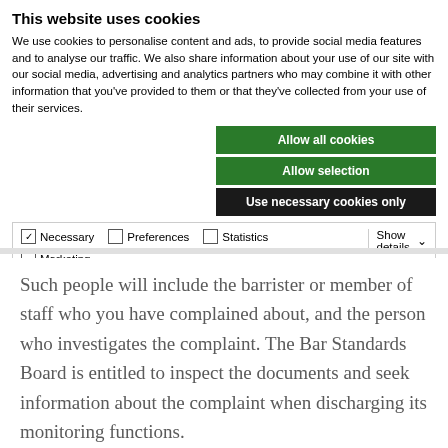This website uses cookies
We use cookies to personalise content and ads, to provide social media features and to analyse our traffic. We also share information about your use of our site with our social media, advertising and analytics partners who may combine it with other information that you've provided to them or that they've collected from your use of their services.
Allow all cookies
Allow selection
Use necessary cookies only
| Options | Show details |
| --- | --- |
| ✓ Necessary  ☐ Preferences  ☐ Statistics  ☐ Marketing | Show details ∨ |
Such people will include the barrister or member of staff who you have complained about, and the person who investigates the complaint. The Bar Standards Board is entitled to inspect the documents and seek information about the complaint when discharging its monitoring functions.